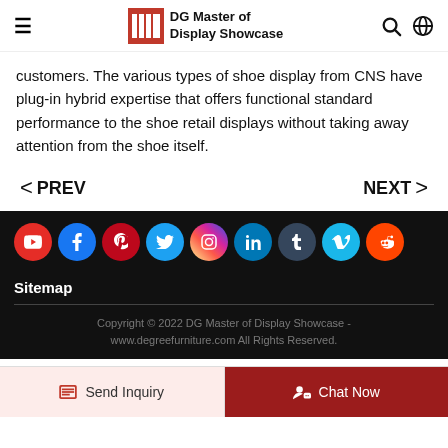DG Master of Display Showcase
customers. The various types of shoe display from CNS have plug-in hybrid expertise that offers functional standard performance to the shoe retail displays without taking away attention from the shoe itself.
< PREV    NEXT >
[Figure (infographic): Row of social media icon circles: YouTube (red), Facebook (blue), Pinterest (dark red), Twitter (light blue), Instagram (gradient), LinkedIn (blue), Tumblr (dark), Vimeo (light blue), Reddit (orange)]
Sitemap
Copyright © 2022 DG Master of Display Showcase - www.degreefurniture.com All Rights Reserved.
Send Inquiry   Chat Now